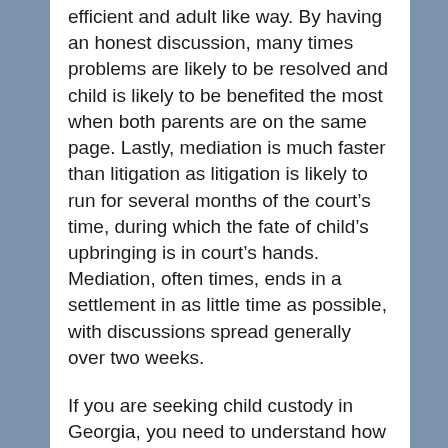efficient and adult like way. By having an honest discussion, many times problems are likely to be resolved and child is likely to be benefited the most when both parents are on the same page. Lastly, mediation is much faster than litigation as litigation is likely to run for several months of the court's time, during which the fate of child's upbringing is in court's hands. Mediation, often times, ends in a settlement in as little time as possible, with discussions spread generally over two weeks.
If you are seeking child custody in Georgia, you need to understand how the state law can impact you and your child. It is advised to consult an attorney to determine what will be in the “best interest” of your child. Don’t hesitate,